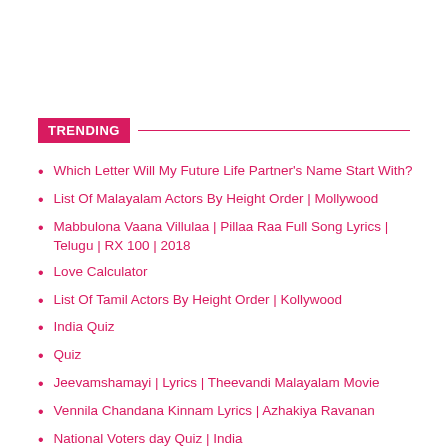TRENDING
Which Letter Will My Future Life Partner's Name Start With?
List Of Malayalam Actors By Height Order | Mollywood
Mabbulona Vaana Villulaa | Pillaa Raa Full Song Lyrics | Telugu | RX 100 | 2018
Love Calculator
List Of Tamil Actors By Height Order | Kollywood
India Quiz
Quiz
Jeevamshamayi | Lyrics | Theevandi Malayalam Movie
Vennila Chandana Kinnam Lyrics | Azhakiya Ravanan
National Voters day Quiz | India